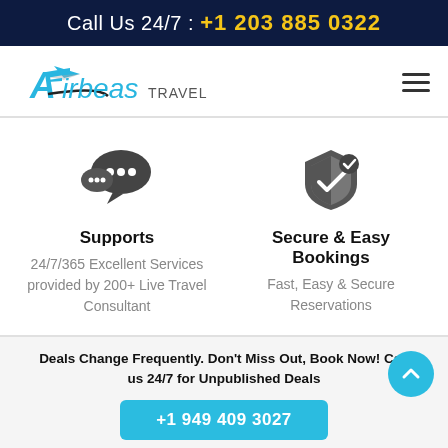Call Us 24/7 : +1 203 885 0322
[Figure (logo): Airbeas Travel logo with airplane graphic and stylized text]
[Figure (illustration): Two-column feature section: left column shows speech bubble icon with 'Supports' heading and '24/7/365 Excellent Services provided by 200+ Live Travel Consultant' text; right column shows shield/check icon with 'Secure & Easy Bookings' heading and 'Fast, Easy & Secure Reservations' text]
Deals Change Frequently. Don't Miss Out, Book Now! Call us 24/7 for Unpublished Deals
+1 949 409 3027